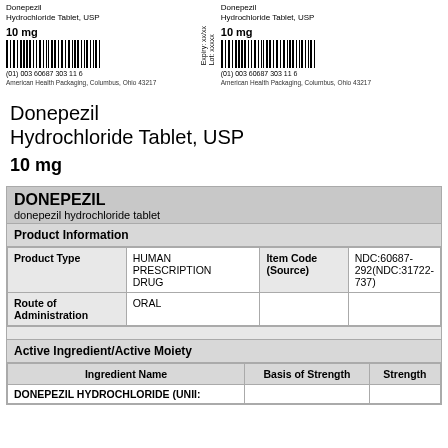[Figure (other): Two pharmaceutical label strips for Donepezil Hydrochloride Tablet USP 10 mg with barcodes, NDC numbers, expiry/lot fields, and manufacturer info. American Health Packaging, Columbus, Ohio 43217.]
Donepezil Hydrochloride Tablet, USP
10 mg
| DONEPEZIL | donepezil hydrochloride tablet |
| Product Information |  |
| Product Type | HUMAN PRESCRIPTION DRUG | Item Code (Source) | NDC:60687-292(NDC:31722-737) |
| Route of Administration | ORAL |  |  |
| Active Ingredient/Active Moiety |  |
| Ingredient Name | Basis of Strength | Strength |
| DONEPEZIL HYDROCHLORIDE (UNII: |  |  |